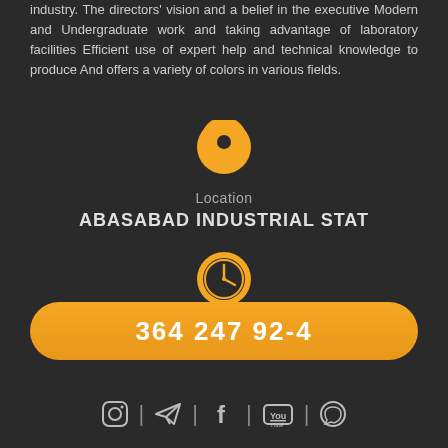industry. The directors' vision and a belief in the executive Modern and Undergraduate work and taking advantage of laboratory facilities Efficient use of expert help and technical knowledge to produce And offers a variety of colors in various fields.
[Figure (infographic): Orange map pin location icon above 'Location' label and 'ABASABAD INDUSTRIAL STAT' text]
Location
ABASABAD INDUSTRIAL STAT
[Figure (infographic): Orange clock icon above 'Office Timing' label and schedule text]
Office Timing
SAT - WED 8:00 - 18:00
364 247 92-4
[Figure (infographic): Social media icons row: Instagram, Telegram, Facebook, YouTube, WhatsApp]